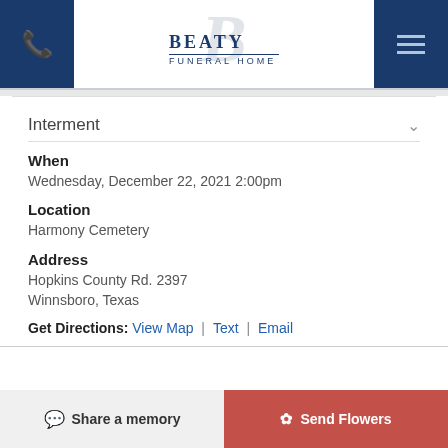[Figure (logo): Beaty Funeral Home logo with stylized B letterform and text]
Interment
When
Wednesday, December 22, 2021 2:00pm
Location
Harmony Cemetery
Address
Hopkins County Rd. 2397
Winnsboro, Texas
Get Directions: View Map | Text | Email
Share a memory
Send Flowers